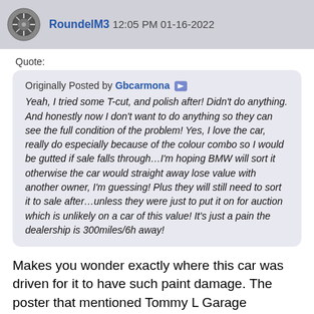RoundelM3 12:05 PM 01-16-2022
Quote:
Originally Posted by Gbcarmona
Yeah, I tried some T-cut, and polish after! Didn't do anything. And honestly now I don't want to do anything so they can see the full condition of the problem! Yes, I love the car, really do especially because of the colour combo so I would be gutted if sale falls through…I'm hoping BMW will sort it otherwise the car would straight away lose value with another owner, I'm guessing! Plus they will still need to sort it to sale after…unless they were just to put it on for auction which is unlikely on a car of this value! It's just a pain the dealership is 300miles/6h away!
Makes you wonder exactly where this car was driven for it to have such paint damage. The poster that mentioned Tommy L Garage mud/stone guards was right on - I installed them on my car and they really do protect the rocker panels and areas behind the wheel arches.